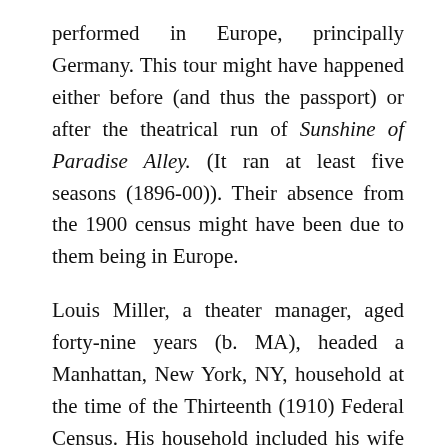performed in Europe, principally Germany. This tour might have happened either before (and thus the passport) or after the theatrical run of Sunshine of Paradise Alley. (It ran at least five seasons (1896-00)). Their absence from the 1900 census might have been due to them being in Europe.
Louis Miller, a theater manager, aged forty-nine years (b. MA), headed a Manhattan, New York, NY, household at the time of the Thirteenth (1910) Federal Census. His household included his wife (of fifteen years), Phila Miller, aged thirty-nine years (b. NH). They resided in an apartment building at 20-22 West 98th Street.